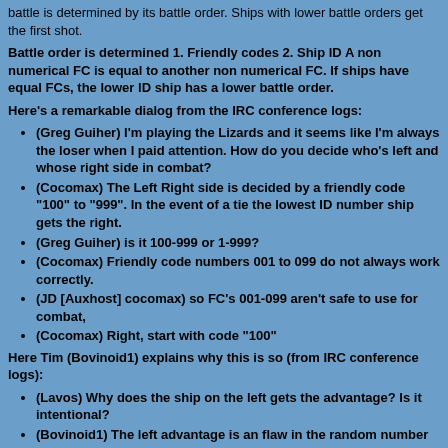battle is determined by its battle order. Ships with lower battle orders get the first shot.
Battle order is determined 1. Friendly codes 2. Ship ID A non numerical FC is equal to another non numerical FC. If ships have equal FCs, the lower ID ship has a lower battle order.
Here's a remarkable dialog from the IRC conference logs:
(Greg Guiher) I'm playing the Lizards and it seems like I'm always the loser when I paid attention. How do you decide who's left and whose right side in combat?
(Cocomax) The Left Right side is decided by a friendly code "100" to "999". In the event of a tie the lowest ID number ship gets the right.
(Greg Guiher) is it 100-999 or 1-999?
(Cocomax) Friendly code numbers 001 to 099 do not always work correctly.
(JD [Auxhost] cocomax) so FC's 001-099 aren't safe to use for combat,
(Cocomax) Right, start with code "100"
Here Tim (Bovinoid1) explains why this is so (from IRC conference logs):
(Lavos) Why does the ship on the left gets the advantage? Is it intentional?
(Bovinoid1) The left advantage is an flaw in the random number generator when ships with fighter bays fight.
This means: Your torp ships (Cygnus,Guardian,Tranquility) fight best with lower ID (due to the 60% chance). Your carriers (Patriot, Rush) against torp ships fight best with higher ID (so the torpers don't get the 60%). Your carriers against carriers fight best with lower ID (due to the left side advantage). These configurations of course are no guarantee to decide side, because your opponent will also do the same, but you always should try.
3.1.2 DEFENSIVE WORKS:
Your offensive power depends on Tritanium, Molybdenum and supplies to build ships. You must have a good working economy to constantly extract minerals and ship them to your bases. This economy must be protected, or will be disrupted by cloaking or crushing attacks of rival players. Your good planets are mineral rich and / or inhabited by Bovinoid natives. Bovinoids are not in need of huge credit amounts like the torp races, but of course will